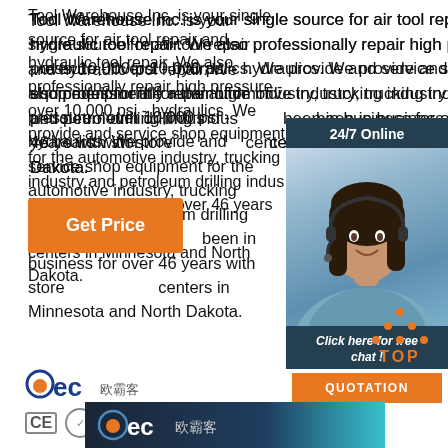Tool Warehouse Inc. is your single source for air tool repair and hydraulic tool repair. We also professionally repair high pressure - over 10,000 psi - hydraulics. We provide and service shop equipment for the automotive industry, trucking industry and petroleum drilling industry. We've been in business for over 46 years with store and service centers in Minnesota and North Dakota.
[Figure (illustration): Get Price orange button]
[Figure (illustration): 24/7 Online chat widget with woman wearing headset, 'Click here for free chat!' text, and orange QUOTATION button]
[Figure (logo): BEC company logo with Chinese characters and CE, certification, and trade icons]
[Figure (illustration): Orange TOP button with dot triangle above text]
[Figure (illustration): Bottom banner with BEC logo on dark blue/teal background]